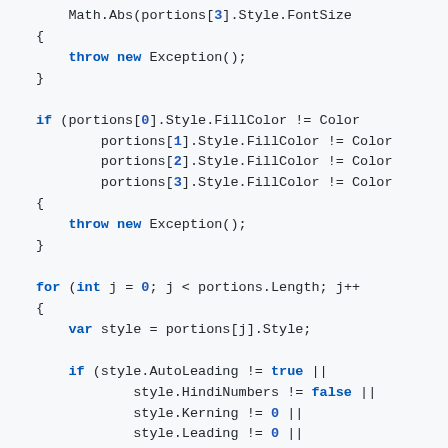Code snippet showing C# exception handling and loop with style property checks